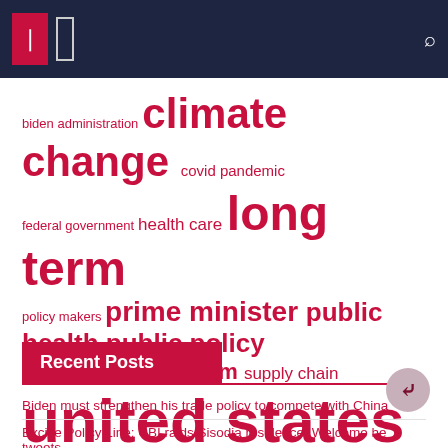[Figure (infographic): Tag cloud with crimson/dark-red terms of varying sizes representing topic frequency: biden administration (small), climate change (large), covid pandemic (medium), federal government (small), health care (medium), long term (extra-large), policy makers (small), prime minister (large), public health (large), public policy (large), renewable energy (small), short term (medium), supply chain (medium), united states (extra-large), vice president (small)]
Recent Posts
Biden must strengthen his trade policy to compete with China
Excise Policy Line: CBI raids Sisodia residence; Welcome he tweets